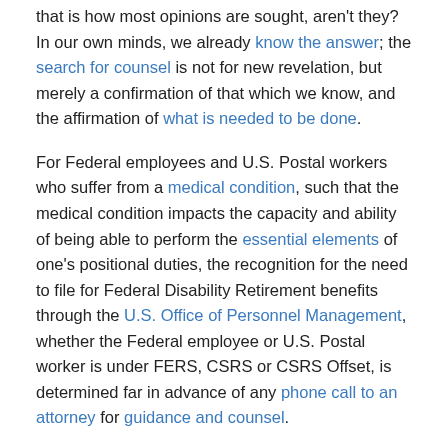that is how most opinions are sought, aren't they?  In our own minds, we already know the answer; the search for counsel is not for new revelation, but merely a confirmation of that which we know, and the affirmation of what is needed to be done.
For Federal employees and U.S. Postal workers who suffer from a medical condition, such that the medical condition impacts the capacity and ability of being able to perform the essential elements of one's positional duties, the recognition for the need to file for Federal Disability Retirement benefits through the U.S. Office of Personnel Management, whether the Federal employee or U.S. Postal worker is under FERS, CSRS or CSRS Offset, is determined far in advance of any phone call to an attorney for guidance and counsel.